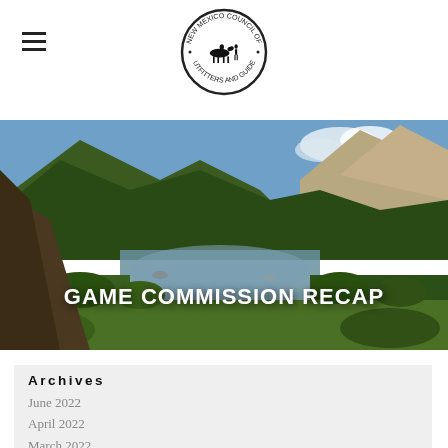New Mexico Council of Outfitters and Guides (logo)
[Figure (photo): Scenic river canyon landscape with green hills and mountains under blue sky with clouds]
GAME COMMISSION RECAP
Archives
June 2022
April 2022
March 2022
November 2021
August 2021
April 2021